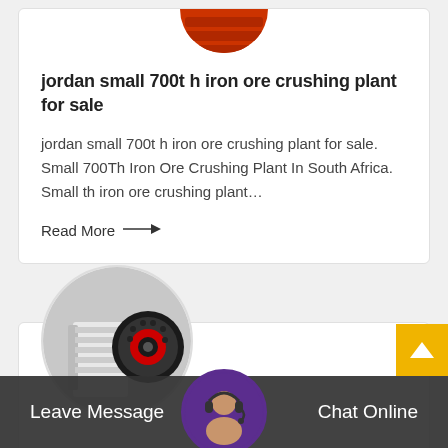[Figure (photo): Circular cropped photo of orange/red industrial crushing machine, top portion visible]
jordan small 700t h iron ore crushing plant for sale
jordan small 700t h iron ore crushing plant for sale. Small 700Th Iron Ore Crushing Plant In South Africa. Small th iron ore crushing plant…
Read More →
[Figure (photo): Circular cropped photo of industrial jaw crusher machine, white body with large red and black flywheel, in workshop setting]
[Figure (photo): Circular photo of female customer service agent with headset, purple background]
Leave Message
Chat Online